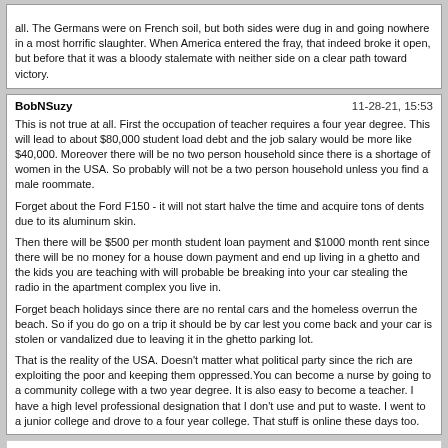all. The Germans were on French soil, but both sides were dug in and going nowhere in a most horrific slaughter. When America entered the fray, that indeed broke it open, but before that it was a bloody stalemate with neither side on a clear path toward victory.
BobNSuzy    11-28-21, 15:53
This is not true at all. First the occupation of teacher requires a four year degree. This will lead to about $80,000 student load debt and the job salary would be more like $40,000. Moreover there will be no two person household since there is a shortage of women in the USA. So probably will not be a two person household unless you find a male roommate.

Forget about the Ford F150 - it will not start halve the time and acquire tons of dents due to its aluminum skin.

Then there will be $500 per month student loan payment and $1000 month rent since there will be no money for a house down payment and end up living in a ghetto and the kids you are teaching with will probable be breaking into your car stealing the radio in the apartment complex you live in.

Forget beach holidays since there are no rental cars and the homeless overrun the beach. So if you do go on a trip it should be by car lest you come back and your car is stolen or vandalized due to leaving it in the ghetto parking lot.

That is the reality of the USA. Doesn't matter what political party since the rich are exploiting the poor and keeping them oppressed.You can become a nurse by going to a community college with a two year degree. It is also easy to become a teacher. I have a high level professional designation that I don't use and put to waste. I went to a junior college and drove to a four year college. That stuff is online these days too.
Powered by vBulletin® Version 4.1.4 Copyright © 2022 vBulletin Solutions, Inc. All rights reserved.